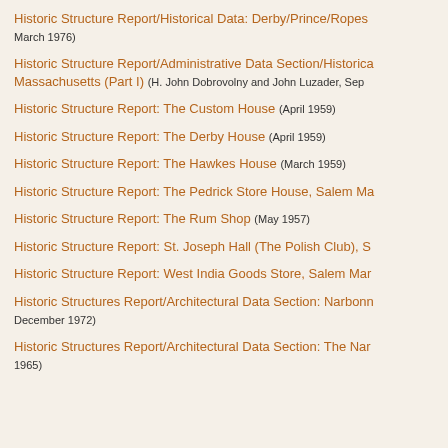Historic Structure Report/Historical Data: Derby/Prince/Ropes… March 1976)
Historic Structure Report/Administrative Data Section/Historica… Massachusetts (Part I) (H. John Dobrovolny and John Luzader, Sep…
Historic Structure Report: The Custom House (April 1959)
Historic Structure Report: The Derby House (April 1959)
Historic Structure Report: The Hawkes House (March 1959)
Historic Structure Report: The Pedrick Store House, Salem Ma…
Historic Structure Report: The Rum Shop (May 1957)
Historic Structure Report: St. Joseph Hall (The Polish Club), S…
Historic Structure Report: West India Goods Store, Salem Mar…
Historic Structures Report/Architectural Data Section: Narbonn… December 1972)
Historic Structures Report/Architectural Data Section: The Nar… 1965)